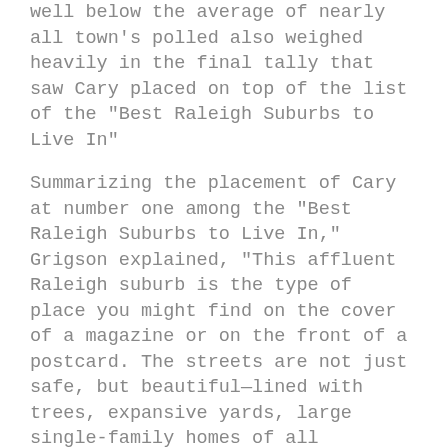well below the average of nearly all town's polled also weighed heavily in the final tally that saw Cary placed on top of the list of the "Best Raleigh Suburbs to Live In"
Summarizing the placement of Cary at number one among the "Best Raleigh Suburbs to Live In," Grigson explained, "This affluent Raleigh suburb is the type of place you might find on the cover of a magazine or on the front of a postcard. The streets are not just safe, but beautiful—lined with trees, expansive yards, large single-family homes of all styles."
"If you're looking to move to the suburbs to raise your family, you won't find a better place than Cary," continued Grigson in her praise of the town. "Nearly a quarter of its